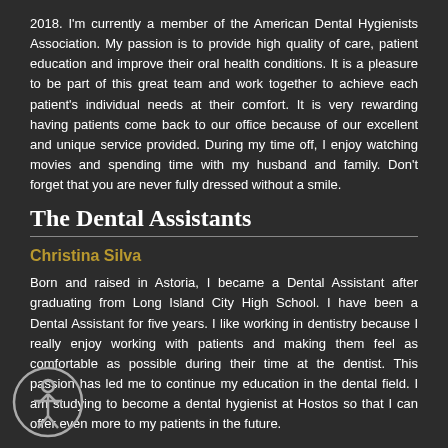2018. I'm currently a member of the American Dental Hygienists Association. My passion is to provide high quality of care, patient education and improve their oral health conditions. It is a pleasure to be part of this great team and work together to achieve each patient's individual needs at their comfort. It is very rewarding having patients come back to our office because of our excellent and unique service provided. During my time off, I enjoy watching movies and spending time with my husband and family. Don't forget that you are never fully dressed without a smile.
The Dental Assistants
Christina Silva
Born and raised in Astoria, I became a Dental Assistant after graduating from Long Island City High School. I have been a Dental Assistant for five years. I like working in dentistry because I really enjoy working with patients and making them feel as comfortable as possible during their time at the dentist. This passion has led me to continue my education in the dental field. I am studying to become a dental hygienist at Hostos so that I can offer even more to my patients in the future.